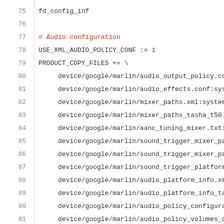75 [line truncated top]
76 [blank]
77 # Audio configuration
78 USE_XML_AUDIO_POLICY_CONF := 1
79 PRODUCT_COPY_FILES += \
80     device/google/marlin/audio_output_policy.co...
81     device/google/marlin/audio_effects.conf:sys...
82     device/google/marlin/mixer_paths.xml:system...
83     device/google/marlin/mixer_paths_tasha_t50....
84     device/google/marlin/aanc_tuning_mixer.txt:s...
85     device/google/marlin/sound_trigger_mixer_pa...
86     device/google/marlin/sound_trigger_mixer_pa...
87     device/google/marlin/sound_trigger_platform...
88     device/google/marlin/audio_platform_info.xm...
89     device/google/marlin/audio_platform_info_tas...
90     device/google/marlin/audio_policy_configura...
91     device/google/marlin/audio_policy_volumes_d...
92     frameworks/av/services/audiopolicy/config/a...
93     frameworks/av/services/audiopolicy/config/r...
94     frameworks/av/services/audiopolicy/config/us...
95     frameworks/av/services/audiopolicy/config/de...
96     frameworks/native/data/etc/android.hardware...